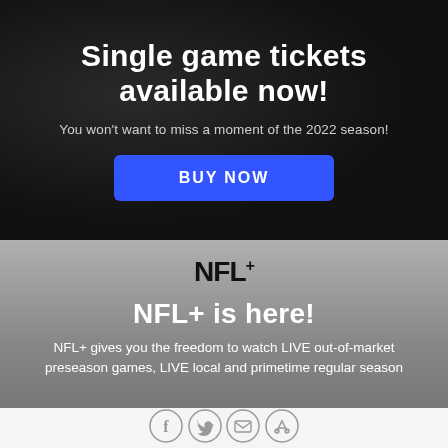Single game tickets available now!
You won't want to miss a moment of the 2022 season!
BUY NOW
[Figure (logo): NFL+ logo in bold black serif text with a superscript plus sign]
NFL+ is here!
NFL+ gives you the freedom to watch LIVE out-of-market preseason games, LIVE local and primetime regular season
[Figure (infographic): Social media icons row: Facebook, Twitter, Email, Link]